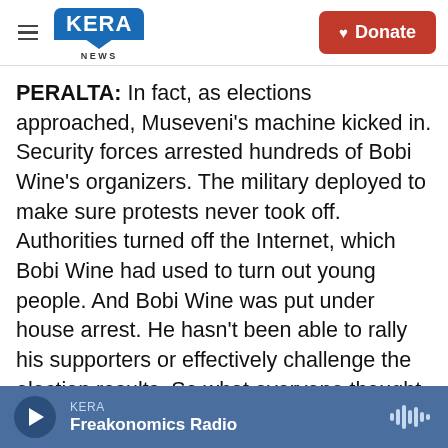KERA NEWS | Donate
PERALTA: In fact, as elections approached, Museveni's machine kicked in. Security forces arrested hundreds of Bobi Wine's organizers. The military deployed to make sure protests never took off. Authorities turned off the Internet, which Bobi Wine had used to turn out young people. And Bobi Wine was put under house arrest. He hasn't been able to rally his supporters or effectively challenge the election results. So what everyone thought would be Museveni's most formidable challenge just fizzled.
(CROSSTALK)
KERA Freakonomics Radio